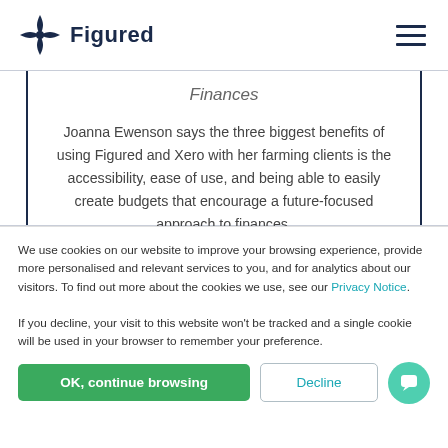Figured
Finances
Joanna Ewenson says the three biggest benefits of using Figured and Xero with her farming clients is the accessibility, ease of use, and being able to easily create budgets that encourage a future-focused approach to finances.
We use cookies on our website to improve your browsing experience, provide more personalised and relevant services to you, and for analytics about our visitors. To find out more about the cookies we use, see our Privacy Notice. If you decline, your visit to this website won't be tracked and a single cookie will be used in your browser to remember your preference.